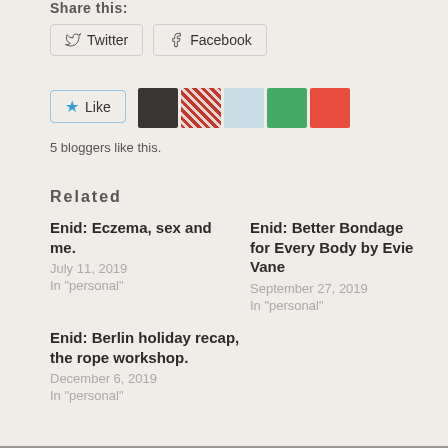Share this:
Twitter   Facebook
[Figure (other): Like button with 5 blogger avatars]
5 bloggers like this.
Related
Enid: Eczema, sex and me.
July 11, 2019
In "personal"
Enid: Better Bondage for Every Body by Evie Vane
September 27, 2019
In "personal"
Enid: Berlin holiday recap, the rope workshop.
December 6, 2019
In "personal"